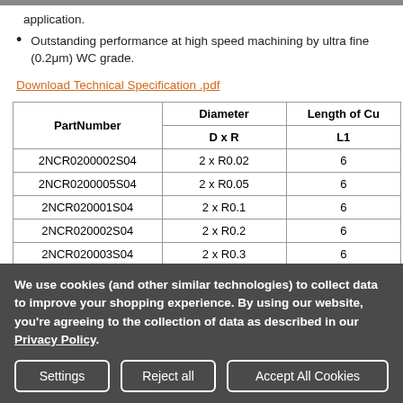various corner R and overall length for wide range application.
Outstanding performance at high speed machining by ultra fine (0.2μm) WC grade.
Download Technical Specification .pdf
| PartNumber | Diameter D x R | Length of Cu L1 |
| --- | --- | --- |
| 2NCR0200002S04 | 2 x R0.02 | 6 |
| 2NCR0200005S04 | 2 x R0.05 | 6 |
| 2NCR020001S04 | 2 x R0.1 | 6 |
| 2NCR020002S04 | 2 x R0.2 | 6 |
| 2NCR020003S04 | 2 x R0.3 | 6 |
We use cookies (and other similar technologies) to collect data to improve your shopping experience. By using our website, you're agreeing to the collection of data as described in our Privacy Policy.